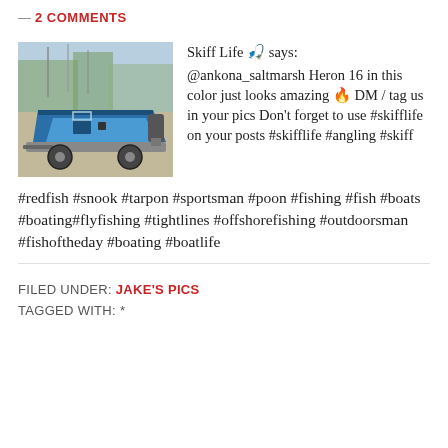— 2 COMMENTS
[Figure (photo): Photo of a blue skiff boat on a trailer parked outdoors near a marina or yard with trees and sky in the background.]
Skiff Life 🎣 says: @ankona_saltmarsh Heron 16 in this color just looks amazing 🔥 DM / tag us in your pics Don't forget to use #skifflife on your posts #skifflife #angling #skiff #redfish #snook #tarpon #sportsman #poon #fishing #fish #boats #boating#flyfishing #tightlines #offshorefishing #outdoorsman #fishoftheday #boating #boatlife
FILED UNDER: JAKE'S PICS
TAGGED WITH: *